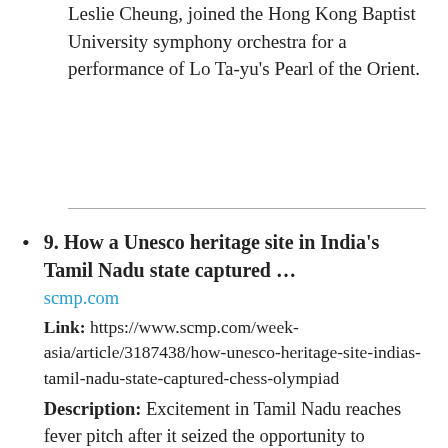Leslie Cheung, joined the Hong Kong Baptist University symphony orchestra for a performance of Lo Ta-yu's Pearl of the Orient.
9. How a Unesco heritage site in India's Tamil Nadu state captured … scmp.com Link: https://www.scmp.com/week-asia/article/3187438/how-unesco-heritage-site-indias-tamil-nadu-state-captured-chess-olympiad Description: Excitement in Tamil Nadu reaches fever pitch after it seized the opportunity to welcome 1,800 players